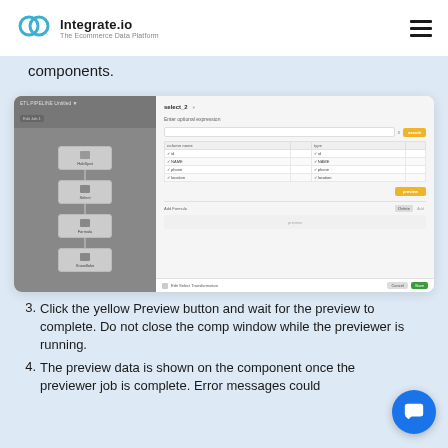Integrate.io — The Ecommerce Data Platform
components.
[Figure (screenshot): Screenshot of the Integrate.io data integration platform UI, showing a workflow with connected nodes on the left side and a field mapping/transformation panel on the right side with a yellow Preview button and table of field mappings.]
3. Click the yellow Preview button and wait for the preview to complete. Do not close the component window while the previewer is running.
4. The preview data is shown on the component once the previewer job is complete. Error messages could